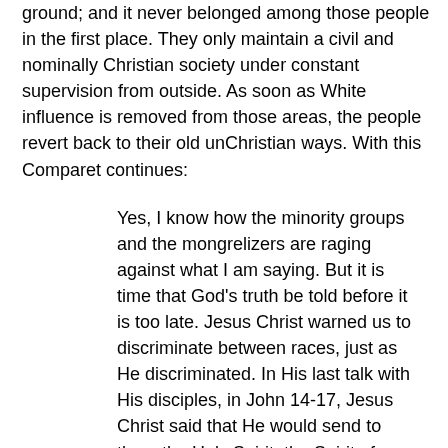ground; and it never belonged among those people in the first place. They only maintain a civil and nominally Christian society under constant supervision from outside. As soon as White influence is removed from those areas, the people revert back to their old unChristian ways. With this Comparet continues:
Yes, I know how the minority groups and the mongrelizers are raging against what I am saying. But it is time that God's truth be told before it is too late. Jesus Christ warned us to discriminate between races, just as He discriminated. In His last talk with His disciples, in John 14-17, Jesus Christ said that He would send to them the Holy Spirit, the Spirit of Truth, whom the nations of the world order (cosmos) cannot receive because they do not see Him nor know Him. Jesus said that He prayed only for those who were His and not for the world system.
Jesus Christ knew the folly and falsehood of